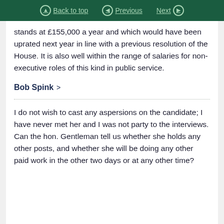Back to top | Previous | Next
stands at £155,000 a year and which would have been uprated next year in line with a previous resolution of the House. It is also well within the range of salaries for non-executive roles of this kind in public service.
Bob Spink
I do not wish to cast any aspersions on the candidate; I have never met her and I was not party to the interviews. Can the hon. Gentleman tell us whether she holds any other posts, and whether she will be doing any other paid work in the other two days or at any other time?